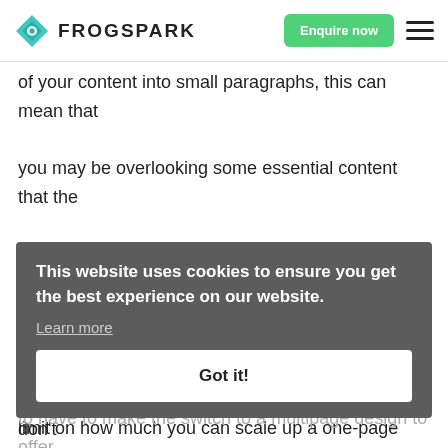FROGSPARK
of your content into small paragraphs, this can mean that you may be overlooking some essential content that the users might want. Also, a single-page design may not be worth it to you if you're a growing business. Due to the limit on how much you can scale up a one-page design, it means that if you decide to broaden your offerings or start adding more content, you're likely going to have to make the switch to a multipage design to offer a reasonable experience to your users.
This website uses cookies to ensure you get the best experience on our website.
Learn more
Got it!
If you'd like some help with your website design don't